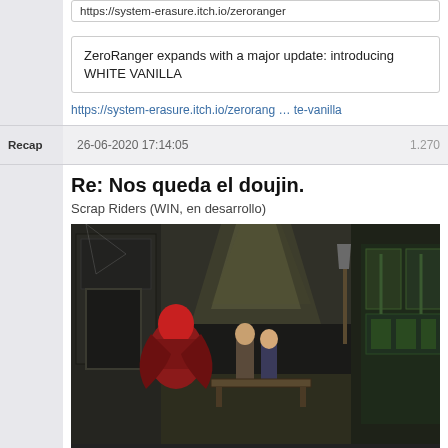https://system-erasure.itch.io/zeroranger
ZeroRanger expands with a major update: introducing WHITE VANILLA
https://system-erasure.itch.io/zerorang … te-vanilla
Recap   26-06-2020 17:14:05   1.270
Re: Nos queda el doujin.
Scrap Riders (WIN, en desarrollo)
[Figure (screenshot): Screenshot of a pixel-art adventure game scene showing characters in a dimly lit interior room with industrial/steampunk aesthetics. A figure in red sits at left, other characters stand in the middle, and the right side shows green industrial equipment.]